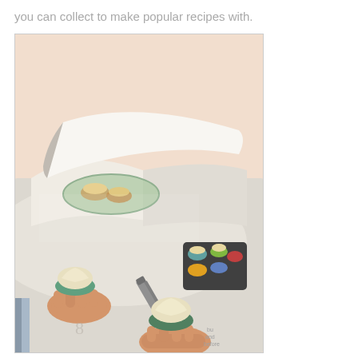you can collect to make popular recipes with.
[Figure (photo): A photograph showing an open cookbook or recipe book with cupcakes being frosted. Hands are visible holding cupcakes and a small offset spatula spreading frosting. A muffin tin with colorful cupcake liners is visible in the background. The image has a warm, peachy-cream background tone.]